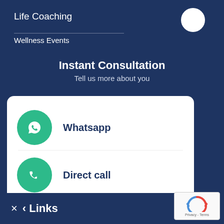Life Coaching
Wellness Events
Instant Consultation
Tell us more about you
Whatsapp
Direct call
Call Me Back
× < Links